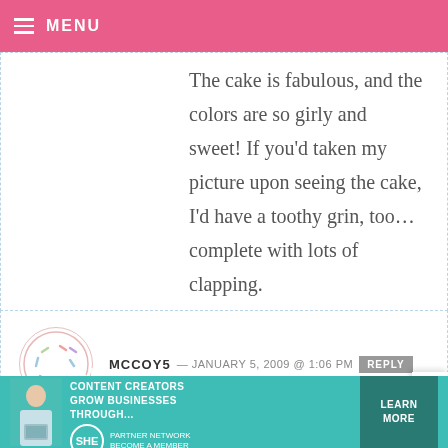MENU
The cake is fabulous, and the colors are so girly and sweet! If you'd taken my picture upon seeing the cake, I'd have a toothy grin, too... complete with lots of clapping.
MCCOY5 — JANUARY 5, 2009 @ 1:06 PM REPLY
great tutorial! and I am pretty sure the birthday girl didn't notice at all – she looked thrilled beyond belief!!! Happy 2009!
[Figure (infographic): Advertisement banner: WE HELP CONTENT CREATORS GROW BUSINESSES THROUGH... SHE PARTNER NETWORK BECOME A MEMBER. LEARN MORE button.]